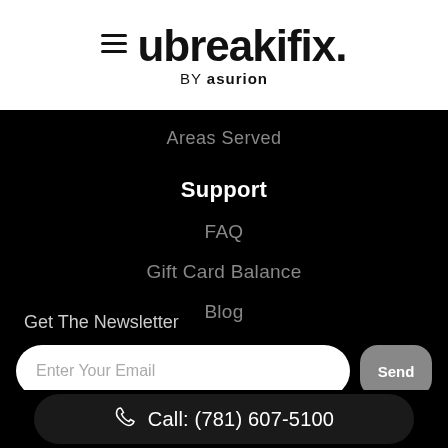[Figure (logo): ubreakifix by asurion logo with hamburger menu icon]
Areas Served
Support
FAQ
Gift Card Balance
Blog
Get The Newsletter
Enter Your Email
Send
Call: (781) 607-5100